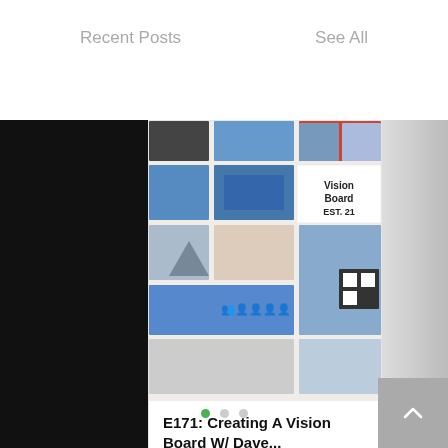Recent Posts
See All
[Figure (photo): Vision board collage with photos of houses, mountains, people, maps, text reading 'Vision Board EST. 21', and various lifestyle images]
E171: Creating A Vision Board W/ Dave...
1 views · 0 comments · 1 like